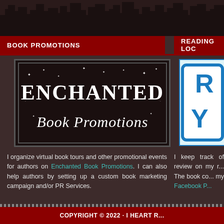[Figure (illustration): City skyline silhouette banner at top of page, dark brown/black background]
BOOK PROMOTIONS
READING LOC...
[Figure (logo): Enchanted Book Promotions logo - white decorative text on dark background with sparkles/stars]
[Figure (illustration): Partially visible image on right side - appears to be a reading log badge/label with blue border]
I organize virtual book tours and other promotional events for authors on Enchanted Book Promotions. I can also help authors by setting up a custom book marketing campaign and/or PR Services.
I keep track of review on my r... The book co... my Facebook P...
COPYRIGHT © 2022 · I HEART R...